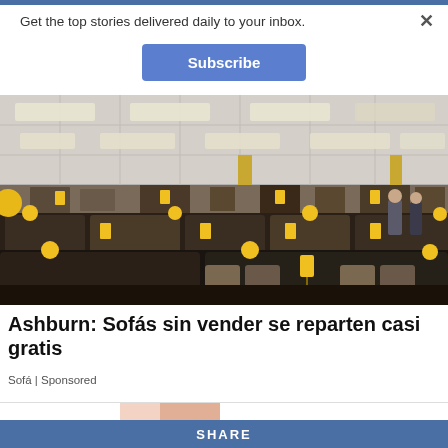Get the top stories delivered daily to your inbox.
Subscribe
[Figure (photo): Interior of a furniture store showroom filled with dark leather sofas and couches, decorated with yellow balloons and yellow price tags, under drop ceiling with fluorescent lighting.]
Ashburn: Sofás sin vender se reparten casi gratis
Sofá | Sponsored
SHARE